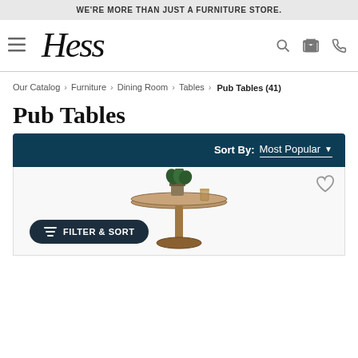WE'RE MORE THAN JUST A FURNITURE STORE.
[Figure (logo): Hess furniture store logo in italic script font]
Our Catalog › Furniture › Dining Room › Tables › Pub Tables (41)
Pub Tables
Sort By: Most Popular ▼
[Figure (photo): A pedestal pub table with a round top, holding a small potted plant and a drink glass]
FILTER & SORT